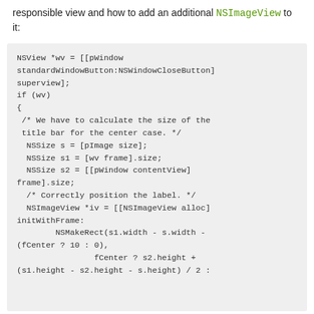responsible view and how to add an additional NSImageView to it:
[Figure (screenshot): Code block showing Objective-C code for getting an NSView from a window's standard window button and adding an NSImageView. Code includes: NSView *wv = [[pWindow standardWindowButton:NSWindowCloseButton] superview]; if (wv) { /* We have to calculate the size of the title bar for the center case. */ NSSize s = [pImage size]; NSSize s1 = [wv frame].size; NSSize s2 = [[pWindow contentView] frame].size; /* Correctly position the label. */ NSImageView *iv = [[NSImageView alloc] initWithFrame: NSMakeRect(s1.width - s.width - (fCenter ? 10 : 0), fCenter ? s2.height + (s1.height - s2.height - s.height) / 2 :]